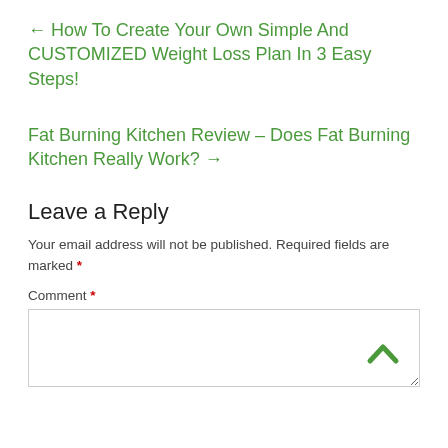← How To Create Your Own Simple And CUSTOMIZED Weight Loss Plan In 3 Easy Steps!
Fat Burning Kitchen Review – Does Fat Burning Kitchen Really Work? →
Leave a Reply
Your email address will not be published. Required fields are marked *
Comment *